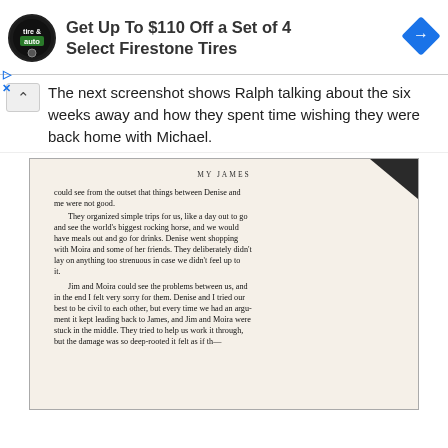[Figure (screenshot): Advertisement banner for Firestone Tires: 'Get Up To $110 Off a Set of 4 Select Firestone Tires' with tire & auto logo and navigation arrow diamond icon]
The next screenshot shows Ralph talking about the six weeks away and how they spent time wishing they were back home with Michael.
[Figure (photo): Photograph of a book page showing text from 'MY JAMES'. Text reads: 'could see from the outset that things between Denise and me were not good. They organized simple trips for us, like a day out to go and see the world's biggest rocking horse, and we would have meals out and go for drinks. Denise went shopping with Moira and some of her friends. They deliberately didn't lay on anything too strenuous in case we didn't feel up to it. Jim and Moira could see the problems between us, and in the end I felt very sorry for them. Denise and I tried our best to be civil to each other, but every time we had an argument it kept leading back to James, and Jim and Moira were stuck in the middle. They tried to help us work it through, but the damage was so deep-rooted it felt as if th—']